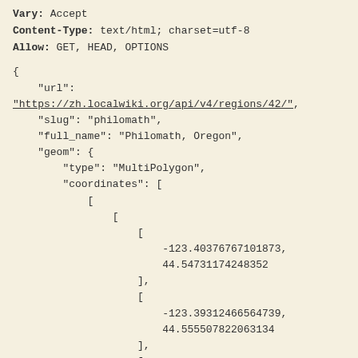Vary: Accept
Content-Type: text/html; charset=utf-8
Allow: GET, HEAD, OPTIONS
{
    "url":
"https://zh.localwiki.org/api/v4/regions/42/",
    "slug": "philomath",
    "full_name": "Philomath, Oregon",
    "geom": {
        "type": "MultiPolygon",
        "coordinates": [
            [
                [
                    [
                        -123.40376767101873,
                        44.54731174248352
                    ],
                    [
                        -123.39312466564739,
                        44.555507822063134
                    ],
                    [